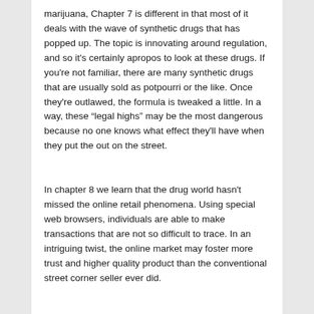marijuana, Chapter 7 is different in that most of it deals with the wave of synthetic drugs that has popped up. The topic is innovating around regulation, and so it’s certainly apropos to look at these drugs. If you’re not familiar, there are many synthetic drugs that are usually sold as potpourri or the like. Once they’re outlawed, the formula is tweaked a little. In a way, these “legal highs” may be the most dangerous because no one knows what effect they’ll have when they put the out on the street.
In chapter 8 we learn that the drug world hasn’t missed the online retail phenomena. Using special web browsers, individuals are able to make transactions that are not so difficult to trace. In an intriguing twist, the online market may foster more trust and higher quality product than the conventional street corner seller ever did.